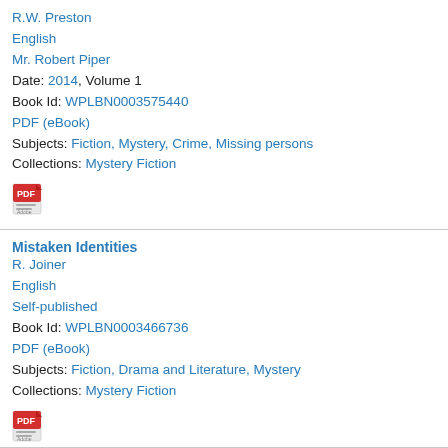R.W. Preston
English
Mr. Robert Piper
Date: 2014, Volume 1
Book Id: WPLBN0003575440
PDF (eBook)
Subjects: Fiction, Mystery, Crime, Missing persons
Collections: Mystery Fiction
[Figure (logo): PDF/Adobe Acrobat icon]
Mistaken Identities
R. Joiner
English
Self-published
Book Id: WPLBN0003466736
PDF (eBook)
Subjects: Fiction, Drama and Literature, Mystery
Collections: Mystery Fiction
[Figure (logo): PDF/Adobe Acrobat icon]